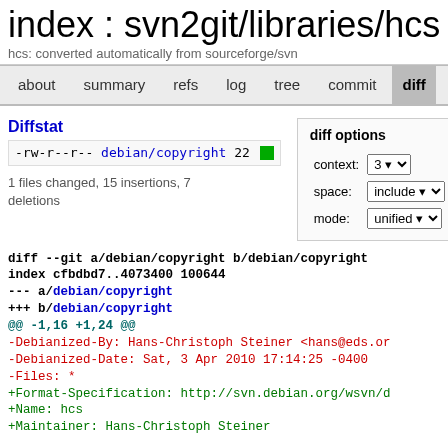index : svn2git/libraries/hcs.g
hcs: converted automatically from sourceforge/svn
about   summary   refs   log   tree   commit   diff
Diffstat
-rw-r--r-- debian/copyright 22
1 files changed, 15 insertions, 7 deletions
diff options
context: 3
space: include
mode: unified
diff --git a/debian/copyright b/debian/copyright
index cfbdbd7..4073400 100644
--- a/debian/copyright
+++ b/debian/copyright
@@ -1,16 +1,24 @@
-Debianized-By: Hans-Christoph Steiner <hans@eds.or
-Debianized-Date: Sat, 3 Apr 2010 17:14:25 -0400
-Files: *
+Format-Specification: http://svn.debian.org/wsvn/d
+Name: hcs
+Maintainer: Hans-Christoph Steiner